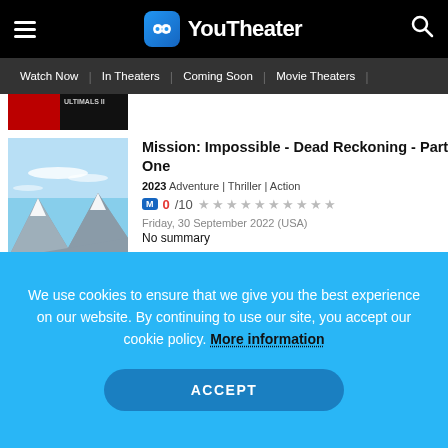YouTheater — Watch Now | In Theaters | Coming Soon | Movie Theaters
[Figure (screenshot): Partially visible movie thumbnail with red bar overlay]
[Figure (photo): Movie thumbnail showing snowy mountain landscape with blue sky]
Mission: Impossible - Dead Reckoning - Part One
2023 Adventure | Thriller | Action
M 0/10 ★★★★★★★★★★
Friday, 30 September 2022 (USA)
No summary
We use cookies to ensure that we give you the best experience on our website. By continuing to use our site, you accept our cookie policy. More information
ACCEPT